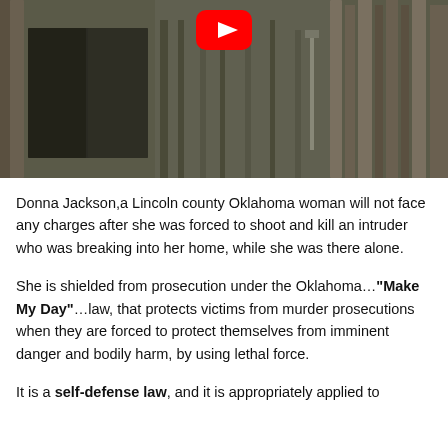[Figure (screenshot): YouTube video thumbnail showing a wooden fence/gate scene with a red YouTube play button icon in the upper center area.]
Donna Jackson,a Lincoln county Oklahoma woman will not face any charges after she was forced to shoot and kill an intruder who was breaking into her home, while she was there alone.
She is shielded from prosecution under the Oklahoma…"Make My Day"…law, that protects victims from murder prosecutions when they are forced to protect themselves from imminent danger and bodily harm, by using lethal force.
It is a self-defense law, and it is appropriately applied to